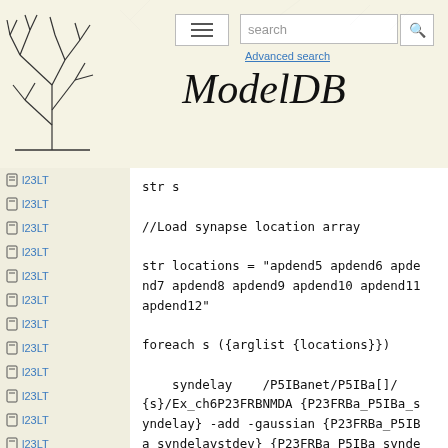ModelDB
l23LT
l23LT
l23LT
l23LT
l23LT
l23LT
l23LT
l23LT
l23LT
l23LT
l23LT
l23LT
str s

//Load synapse location array

str locations = "apdend5 apdend6 apdend7 apdend8 apdend9 apdend10 apdend11 apdend12"

foreach s ({arglist {locations}})

    syndelay    /P5IBanet/P5IBa[]/
{s}/Ex_ch6P23FRBNMDA {P23FRBa_P5IBa_syndelay} -add -gaussian {P23FRBa_P5IBa_syndelaystdev} {P23FRBa_P5IBa_syndelaymaxdev}

end

// assigning weights using the planar
weight function